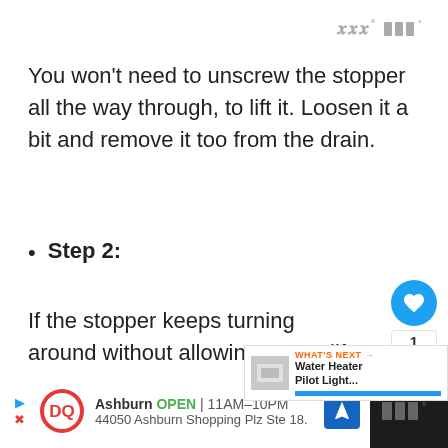You won't need to unscrew the stopper all the way through, to lift it. Loosen it a bit and remove it too from the drain.
Step 2:
If the stopper keeps turning around without allowing you to lift it, you might need to adjust the pressure or use a liquid wr… solvent to loosen it up.
Ashburn OPEN | 11AM–10PM 44050 Ashburn Shopping Plz Ste 18.